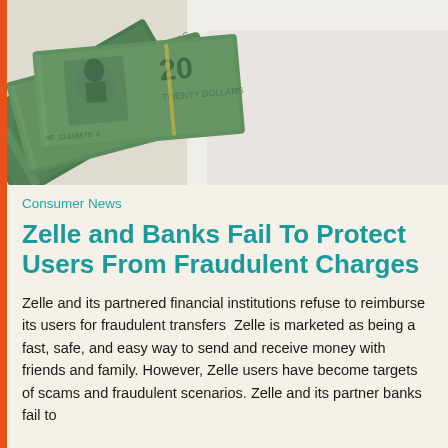[Figure (photo): Overhead view of US dollar bills (20s) fanned out on a light/white surface]
Consumer News
Zelle and Banks Fail To Protect Users From Fraudulent Charges
Zelle and its partnered financial institutions refuse to reimburse its users for fraudulent transfers  Zelle is marketed as being a fast, safe, and easy way to send and receive money with friends and family. However, Zelle users have become targets of scams and fraudulent scenarios. Zelle and its partner banks fail to